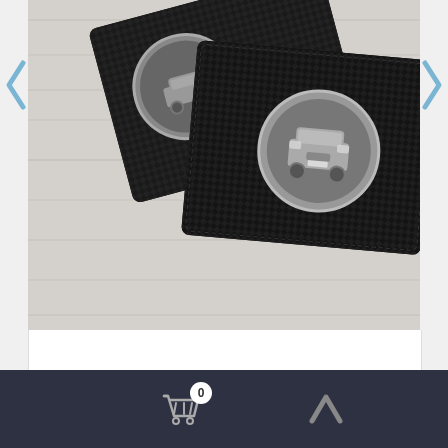[Figure (photo): Two black carbon fiber wallets on a light wood surface, each with a circular metallic coin/badge showing a car on the front]
CARBON WALLET
ALL BRANDS & MODELS DELIVERABLE
This website uses cookies to ensure you get the best experience on our website. If you continue browsing, you agree to the use of cookies. Further informations
Close note ✕
0 (cart icon, up arrow)